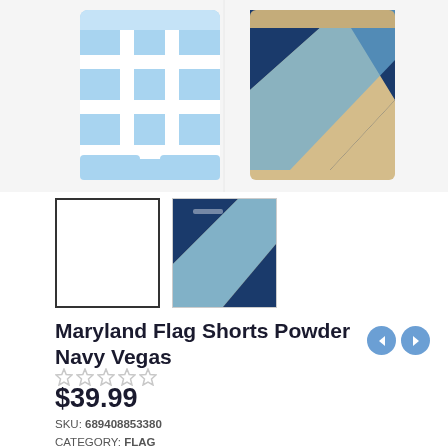[Figure (photo): Two pairs of Maryland Flag Shorts shown side by side. Left: light blue shorts with a crossword/grid pattern in light blue and white. Right: shorts with Maryland flag pattern in navy blue, khaki/tan, and sky blue with diagonal sections.]
[Figure (photo): Thumbnail 1 - blank/white square with border (currently selected view)]
[Figure (photo): Thumbnail 2 - small view of Maryland Flag Shorts showing navy, tan, and light blue diagonal pattern]
Maryland Flag Shorts Powder Navy Vegas
★★★★★ (empty stars rating)
$39.99
SKU: 689408853380
CATEGORY: FLAG
TAGS: COLLEGE PARK, MARYLAND, MARYLAND FLAG, MARYLAND FLAG APPAREL, MD SHORTS